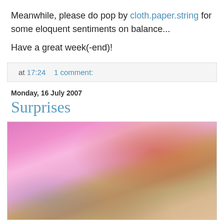Meanwhile, please do pop by cloth.paper.string for some eloquent sentiments on balance...
Have a great week(-end)!
at 17:24   1 comment:
Monday, 16 July 2007
Surprises
[Figure (photo): Close-up photo of a child's hands in pink clothing holding or opening items on a table, with colorful items including what appears to be candy and decorative paper with floral patterns.]